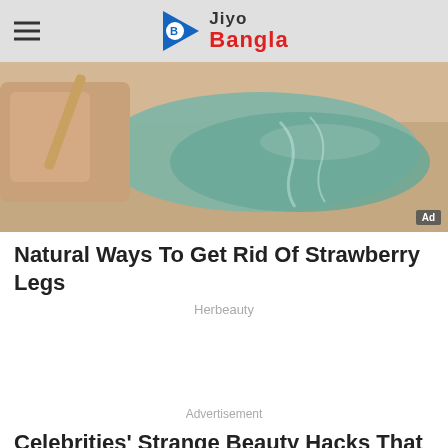Jiyo Bangla
[Figure (photo): Close-up photo of wax being applied to a leg with a wooden stick, teal/green colored wax visible against skin tone background. Ad badge in bottom right corner.]
Natural Ways To Get Rid Of Strawberry Legs
Herbeauty
Advertisement
Celebrities' Strange Beauty Hacks That Actually Work